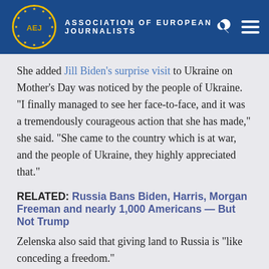AEJ ASSOCIATION OF EUROPEAN JOURNALISTS
She added Jill Biden’s surprise visit to Ukraine on Mother’s Day was noticed by the people of Ukraine. “I finally managed to see her face-to-face, and it was a tremendously courageous action that she has made,” she said. “She came to the country which is at war, and the people of Ukraine, they highly appreciated that.”
RELATED: Russia Bans Biden, Harris, Morgan Freeman and nearly 1,000 Americans — But Not Trump
Zelenska also said that giving land to Russia is “like conceding a freedom.”
“Even if we would consider territories, the aggressor would not stop at that,” she explained. “He would continue pressing, he would continue launching more and more